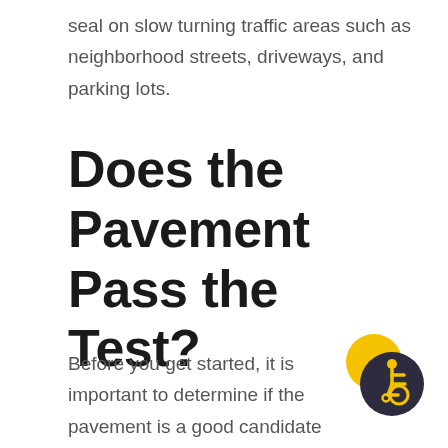seal on slow turning traffic areas such as neighborhood streets, driveways, and parking lots.
Does the Pavement Pass the Test?
Before you get started, it is important to determine if the pavement is a good candidate for surface sealing. First,
[Figure (illustration): Accessibility icon: dark circle with yellow wheelchair user symbol, overlapping a yellow circle behind it]